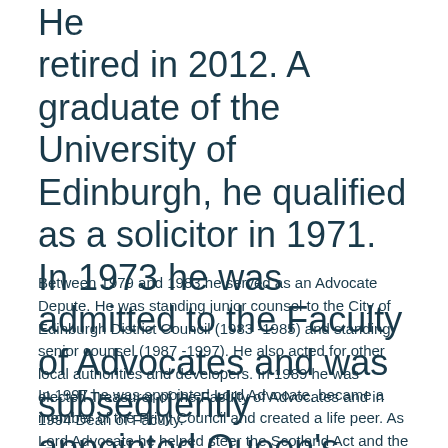He retired in 2012. A graduate of the University of Edinburgh, he qualified as a solicitor in 1971. In 1973 he was admitted to the Faculty of Advocates and was subsequently appointed Queen's Counsel in 1985.
Between 1979 and 1983 he served as an Advocate Depute. He was standing junior counsel to the City of Edinburgh District Council (1983 -1985) and standing senior counsel (1987 -1997). He also acted for other local authorities and developers. In 1989 he was elected Treasurer of the Faculty of Advocates and in 1994 Dean of Faculty.
In 1997 he was appointed Lord Advocate, became a member of the Privy Council and created a life peer. As Lord Advocate he helped steer the Scotland Act and the Human Rights Act through the House of Lords.